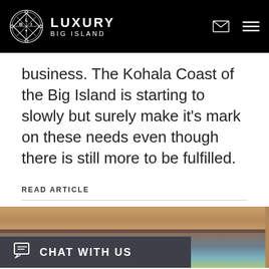LUXURY BIG ISLAND
business. The Kohala Coast of the Big Island is starting to slowly but surely make it’s mark on these needs even though there is still more to be fulfilled.
READ ARTICLE
[Figure (photo): Partial view of a wooden interior with tropical scenic painting visible below, with a dark chat overlay bar at the bottom left reading CHAT WITH US]